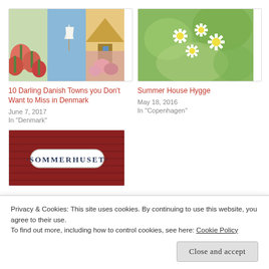[Figure (photo): Collage of Danish summer scenes: red poppies field, sailboat on blue sky, yellow house facade, pink roses]
10 Darling Danish Towns you Don't Want to Miss in Denmark
June 7, 2017
In "Denmark"
[Figure (photo): White daisies against soft green bokeh background]
Summer House Hygge
May 18, 2016
In "Copenhagen"
[Figure (photo): Red wooden siding with a white oval sign reading SOMMERHUSET]
Privacy & Cookies: This site uses cookies. By continuing to use this website, you agree to their use.
To find out more, including how to control cookies, see here: Cookie Policy
Close and accept